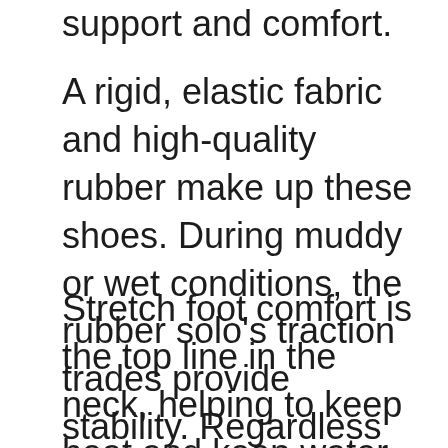support and comfort.
A rigid, elastic fabric and high-quality rubber make up these shoes. During muddy or wet conditions, the rubber solo’s traction trades provide stability. Regardless of the surface (dry or loose), they offer dependable traction.
Stretch foot comfort is the top line in the neck, helping to keep heat and keep water out. There is also a breathable air mesh lining in the boat. It keeps your feet warm whenever the weather gets warm. The shoes